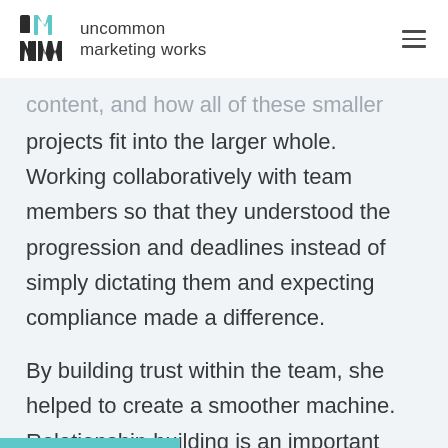uncommon marketing works
content, and how all of these smaller projects fit into the larger whole. Working collaboratively with team members so that they understood the progression and deadlines instead of simply dictating them and expecting compliance made a difference.
By building trust within the team, she helped to create a smoother machine. Relationship building is an important